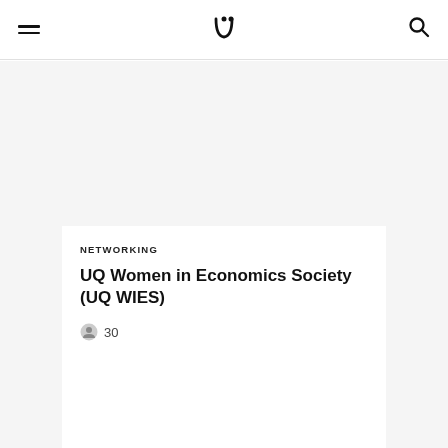UQ logo navigation header with hamburger menu and search icon
NETWORKING
UQ Women in Economics Society (UQ WIES)
30